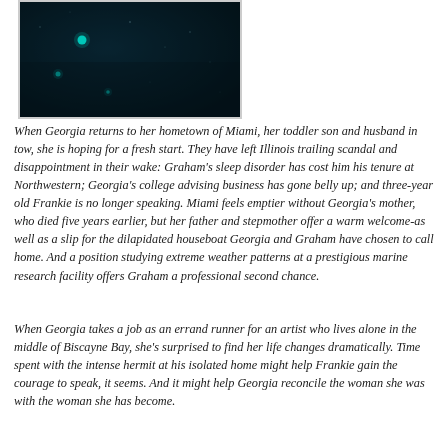[Figure (photo): Dark night sky image with a deep teal/dark blue background and small glowing cyan/turquoise light points scattered across it, resembling stars or bioluminescent particles in water.]
When Georgia returns to her hometown of Miami, her toddler son and husband in tow, she is hoping for a fresh start. They have left Illinois trailing scandal and disappointment in their wake: Graham's sleep disorder has cost him his tenure at Northwestern; Georgia's college advising business has gone belly up; and three-year old Frankie is no longer speaking. Miami feels emptier without Georgia's mother, who died five years earlier, but her father and stepmother offer a warm welcome-as well as a slip for the dilapidated houseboat Georgia and Graham have chosen to call home. And a position studying extreme weather patterns at a prestigious marine research facility offers Graham a professional second chance.
When Georgia takes a job as an errand runner for an artist who lives alone in the middle of Biscayne Bay, she's surprised to find her life changes dramatically. Time spent with the intense hermit at his isolated home might help Frankie gain the courage to speak, it seems. And it might help Georgia reconcile the woman she was with the woman she has become.